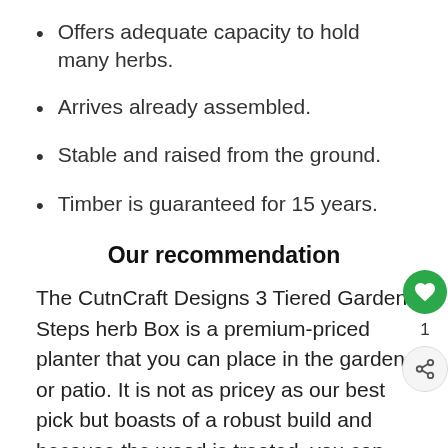Offers adequate capacity to hold many herbs.
Arrives already assembled.
Stable and raised from the ground.
Timber is guaranteed for 15 years.
Our recommendation
The CutnCraft Designs 3 Tiered Garden Steps herb Box is a premium-priced planter that you can place in the garden or patio. It is not as pricey as our best pick but boasts of a robust build and because the wood is treated, you can expect to use the planter for many years.